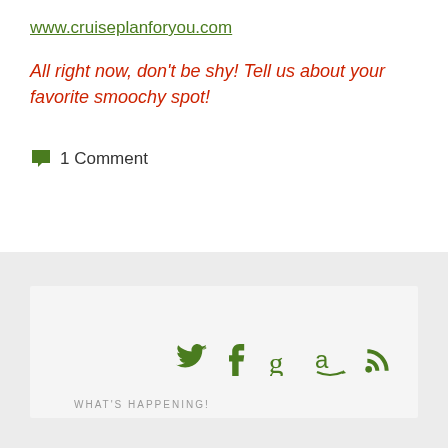www.cruiseplanforyou.com
All right now, don't be shy! Tell us about your favorite smoochy spot!
1 Comment
[Figure (other): Social media icons: Twitter, Facebook, Goodreads, Amazon, RSS feed — all in dark green]
WHAT'S HAPPENING!